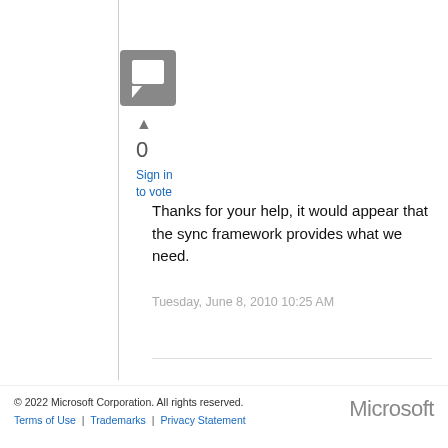[Figure (illustration): Gray speech bubble / comment icon in a square box]
▲
0
Sign in
to vote
Thanks for your help, it would appear that the sync framework provides what we need.
Tuesday, June 8, 2010 10:25 AM
© 2022 Microsoft Corporation. All rights reserved.
Terms of Use | Trademarks | Privacy Statement